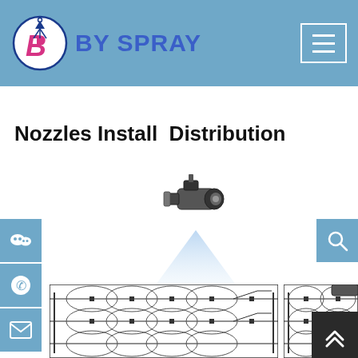[Figure (logo): BY SPRAY company logo — blue circle with stylized B letter and spray nozzle icon, brand name 'BY SPRAY' in blue bold text]
[Figure (screenshot): Hamburger menu button (three horizontal lines) in white on steel-blue background, inside a white-bordered rectangle]
Nozzles Install  Distribution
[Figure (engineering-diagram): 3D rendered industrial spray nozzle pointing downward with a triangular spray cone pattern shown in light blue below it]
[Figure (engineering-diagram): Technical top-view distribution diagram showing nozzle spray coverage pattern — overlapping oval/circular spray zones on a grid/pipe layout]
[Figure (engineering-diagram): Partial right-side technical distribution diagram showing additional nozzle spray coverage layout]
[Figure (other): Side panel with three blue square icons: WeChat icon, WhatsApp/phone icon, envelope/mail icon]
[Figure (other): Search icon (magnifying glass) in white on blue background, top right]
[Figure (other): Back-to-top button with upward chevron arrows on dark grey background, bottom right]